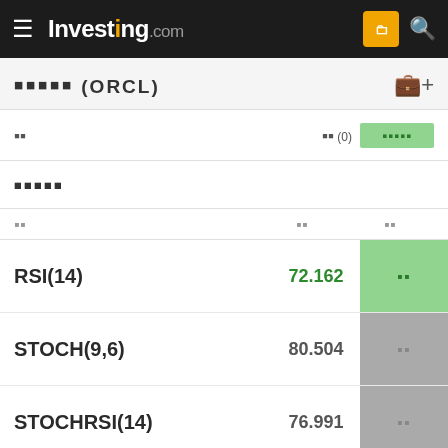Investing.com
오라클 (ORCL)
요약  평가 (0)
기술적 지표
| 지표 | 값 | 신호 |
| --- | --- | --- |
| RSI(14) | 72.162 | 과매수 |
| STOCH(9,6) | 80.504 | 과매수 |
| STOCHRSI(14) | 76.991 | 과매수 |